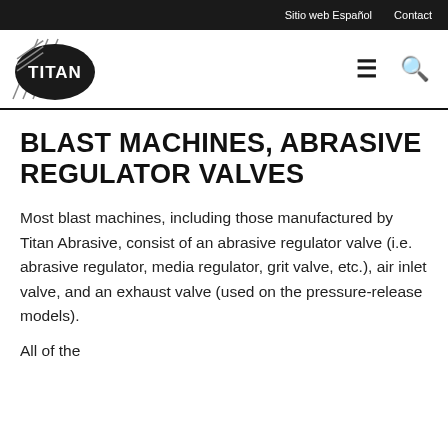Sitio web Español   Contact
[Figure (logo): Titan Abrasive logo with diagonal lines and bold TITAN text in black and white, plus hamburger menu and search icons]
BLAST MACHINES, ABRASIVE REGULATOR VALVES
Most blast machines, including those manufactured by Titan Abrasive, consist of an abrasive regulator valve (i.e. abrasive regulator, media regulator, grit valve, etc.), air inlet valve, and an exhaust valve (used on the pressure-release models).
All of the...